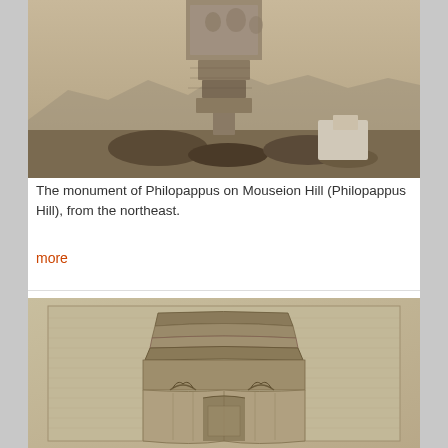[Figure (photo): Sepia-toned photograph of the monument of Philopappus on Mouseion Hill (Philopappus Hill), viewed from the northeast. The monument's carved stone blocks and relief sculpture are visible against a mountainous landscape background.]
The monument of Philopappus on Mouseion Hill (Philopappus Hill), from the northeast.
more
[Figure (illustration): Sepia-toned architectural engraving or detailed drawing of the monument of Philopappus, showing ornate cornice, Corinthian capitals, and carved architectural details from a close-up angle.]